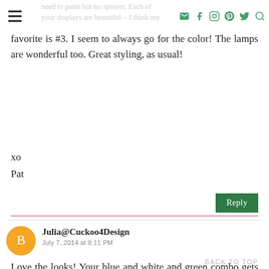need to paint but no sprayer. Each of your displays are beautiful – I think my favorite is #3. I seem to always go for the color! The lamps are wonderful too. Great styling, as usual!
favorite is #3. I seem to always go for the color! The lamps are wonderful too. Great styling, as usual!
xo
Pat
Reply
Julia@Cuckoo4Design
July 7, 2014 at 8:11 PM
Love the looks! Your blue and white and green combo gets me every time!
BACK TO TOP